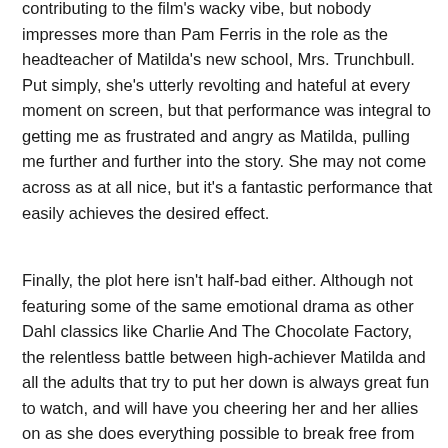contributing to the film's wacky vibe, but nobody impresses more than Pam Ferris in the role as the headteacher of Matilda's new school, Mrs. Trunchbull. Put simply, she's utterly revolting and hateful at every moment on screen, but that performance was integral to getting me as frustrated and angry as Matilda, pulling me further and further into the story. She may not come across as at all nice, but it's a fantastic performance that easily achieves the desired effect.
Finally, the plot here isn't half-bad either. Although not featuring some of the same emotional drama as other Dahl classics like Charlie And The Chocolate Factory, the relentless battle between high-achiever Matilda and all the adults that try to put her down is always great fun to watch, and will have you cheering her and her allies on as she does everything possible to break free from the oppression of those brutal grown-ups. Although a lot more fun than emotionally powerful, there's nothing to stop you having a great time with